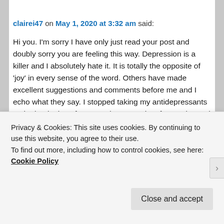[Figure (photo): User avatar thumbnail showing a mug/cup on a wooden surface]
clairei47 on May 1, 2020 at 3:32 am said:
Hi you. I'm sorry I have only just read your post and doubly sorry you are feeling this way. Depression is a killer and I absolutely hate it. It is totally the opposite of 'joy' in every sense of the word. Others have made excellent suggestions and comments before me and I echo what they say. I stopped taking my antidepressants at the beginning of 2019 and two months afterwards I took a nose dive I couldn't come out of. In June I restarted them and they ave really helped, along with counselling. The anger and disgust we feel towards ourselves when we are in fullness of
Privacy & Cookies: This site uses cookies. By continuing to use this website, you agree to their use.
To find out more, including how to control cookies, see here: Cookie Policy